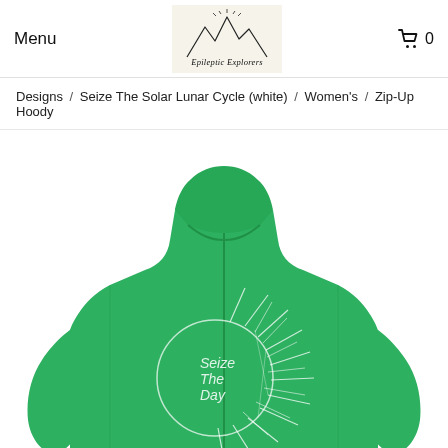Menu | Epileptic Explorers | 🛒 0
Designs / Seize The Solar Lunar Cycle (white) / Women's / Zip-Up Hoody
[Figure (photo): Back view of a green zip-up hoodie with a white line-art sun design on the back that reads 'Seize The Day' inside a circle]